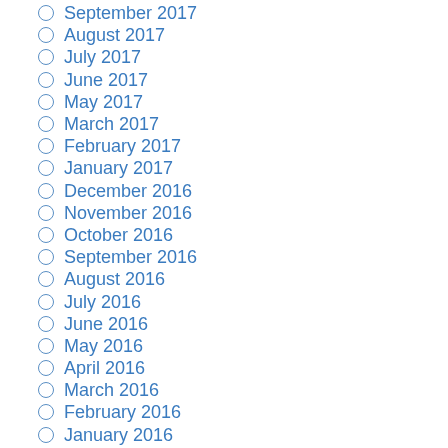September 2017
August 2017
July 2017
June 2017
May 2017
March 2017
February 2017
January 2017
December 2016
November 2016
October 2016
September 2016
August 2016
July 2016
June 2016
May 2016
April 2016
March 2016
February 2016
January 2016